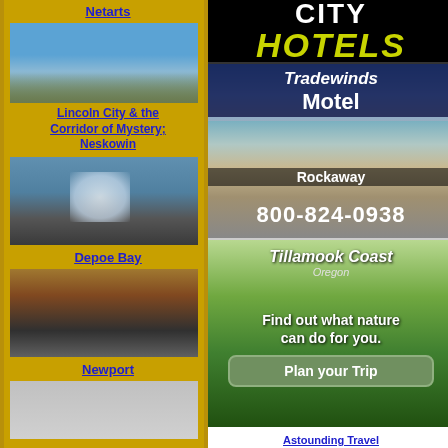Netarts
[Figure (photo): Coastal town by water, Lincoln City area]
Lincoln City & the Corridor of Mystery; Neskowin
[Figure (photo): Rocky coastline with crashing wave splash at Depoe Bay]
Depoe Bay
[Figure (photo): Bridge over water at Newport, Oregon]
Newport
[Figure (photo): Partial photo at bottom of left column]
[Figure (advertisement): City Hotels advertisement with black background, white CITY text and yellow italic HOTELS text]
[Figure (advertisement): Tradewinds Motel ad with motel building photo, Rockaway label, phone 800-824-0938]
[Figure (advertisement): Tillamook Coast Oregon tourism ad - Find out what nature can do for you. Plan your Trip.]
Astounding Travel